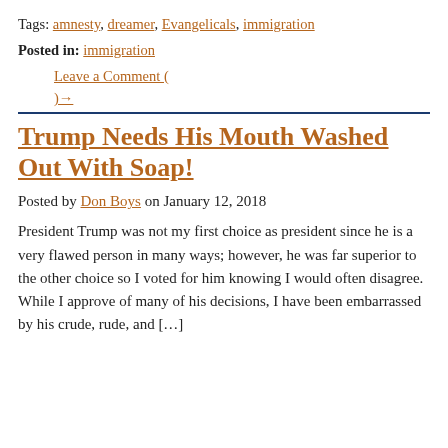Tags: amnesty, dreamer, Evangelicals, immigration
Posted in: immigration
Leave a Comment (
)→
Trump Needs His Mouth Washed Out With Soap!
Posted by Don Boys on January 12, 2018
President Trump was not my first choice as president since he is a very flawed person in many ways; however, he was far superior to the other choice so I voted for him knowing I would often disagree. While I approve of many of his decisions, I have been embarrassed by his crude, rude, and […]